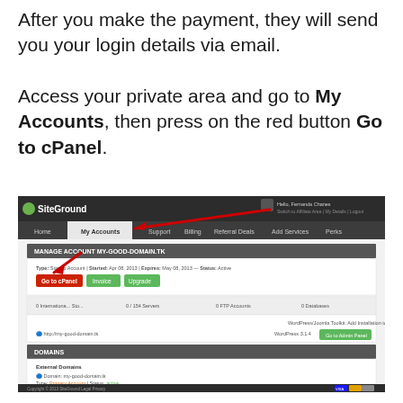After you make the payment, they will send you your login details via email.

Access your private area and go to My Accounts, then press on the red button Go to cPanel.
[Figure (screenshot): Screenshot of SiteGround hosting control panel showing the My Accounts tab highlighted with a red arrow pointing to the Go to cPanel button, and another arrow pointing downward toward a red 'Go to cPanel' button.]